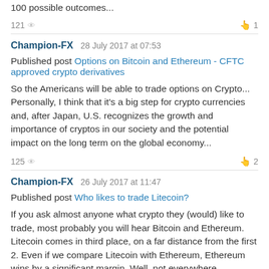100 possible outcomes...
121 👁 1
Champion-FX  28 July 2017 at 07:53
Published post Options on Bitcoin and Ethereum - CFTC approved crypto derivatives
So the Americans will be able to trade options on Crypto... Personally, I think that it's a big step for crypto currencies and, after Japan, U.S. recognizes the growth and importance of cryptos in our society and the potential impact on the long term on the global economy...
125 👁 2
Champion-FX  26 July 2017 at 11:47
Published post Who likes to trade Litecoin?
If you ask almost anyone what crypto they (would) like to trade, most probably you will hear Bitcoin and Ethereum. Litecoin comes in third place, on a far distance from the first 2. Even if we compare Litecoin with Ethereum, Ethereum wins by a significant margin. Well, not everywhere...
105 👁 2
Champion-FX  21 July 2017 at 10:23